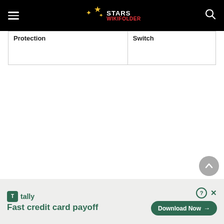Stars Wikifolder — navigation bar with hamburger menu and search icon
| Protection | Switch |
| --- | --- |
[Figure (other): Advertisement banner for Tally app — Fast credit card payoff, with Download Now button]